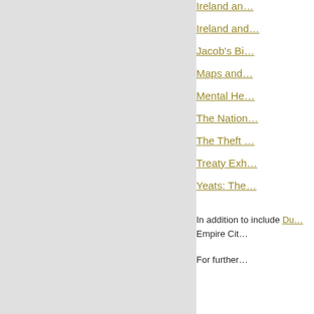[Figure (other): Gray left panel background area]
Ireland an…
Ireland and…
Jacob's Bi…
Maps and…
Mental He…
The Nation…
The Theft …
Treaty Exh…
Yeats: The…
In addition to include Du… Empire Cit…
For further…